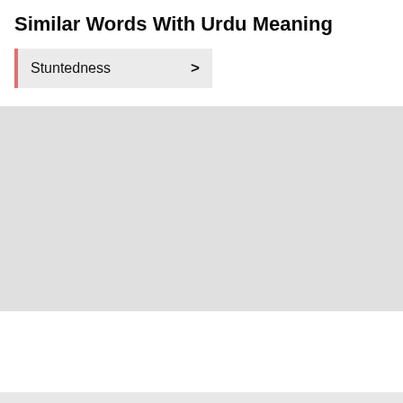Similar Words With Urdu Meaning
Stuntedness >